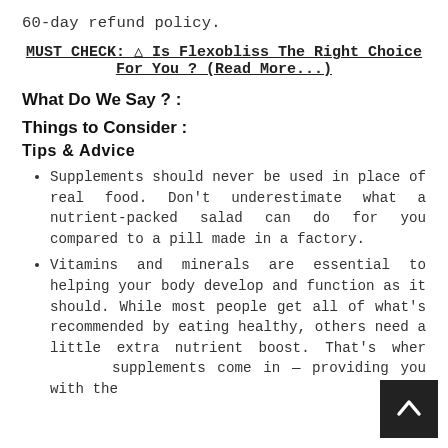60-day refund policy.
MUST CHECK: ⚠ Is Flexobliss The Right Choice For You ? (Read More...)
What Do We Say ? :
Things to Consider :
Tips & Advice
Supplements should never be used in place of real food. Don't underestimate what a nutrient-packed salad can do for you compared to a pill made in a factory.
Vitamins and minerals are essential to helping your body develop and function as it should. While most people get all of what's recommended by eating healthy, others need a little extra nutrient boost. That's where supplements come in — providing you with the